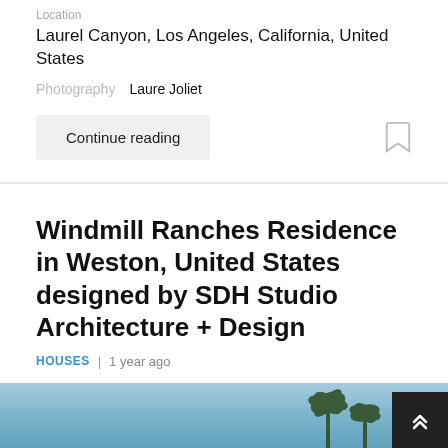Location
Laurel Canyon, Los Angeles, California, United States
Photography   Laure Joliet
Continue reading
Windmill Ranches Residence in Weston, United States designed by SDH Studio Architecture + Design
HOUSES | 1 year ago
[Figure (photo): Partial view of sky and palm trees, bottom of page image]